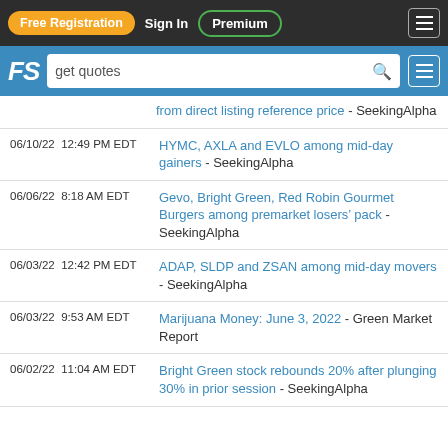Free Registration  Sign In  Premium
FS  get quotes
from direct listing reference price - SeekingAlpha
06/10/22  12:49 PM EDT   HYMC, AXLA and EVLO among mid-day gainers - SeekingAlpha
06/06/22  8:18 AM EDT   Gevo, Bright Green, Red Robin Gourmet Burgers among premarket losers' pack - SeekingAlpha
06/03/22  12:42 PM EDT   ADAP, SLDP and ZSAN among mid-day movers - SeekingAlpha
06/03/22  9:53 AM EDT   Marijuana Money: June 3, 2022 - Green Market Report
06/02/22  11:04 AM EDT   Bright Green stock rebounds 20% after plunging 30% in prior session - SeekingAlpha